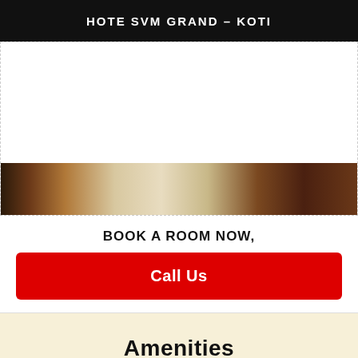HOTE SVM GRAND – KOTI
[Figure (photo): Hotel room interior photo showing wooden furniture and light-colored walls/floor, partially visible at bottom of image area]
BOOK A ROOM NOW,
Call Us
Amenities